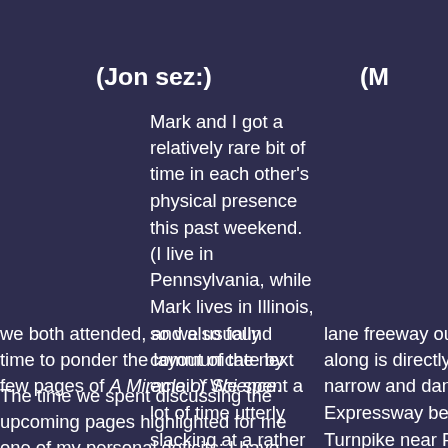(Jon sez:)
(M...
Mark and I got a relatively rare bit of time in each other’s physical presence this past weekend. (I live in Pennsylvania, while Mark lives in Illinois, so we usually communicate by email.) We spent a lot of time utterly slacking at a rather boring meeting we both attended, and also found time to ponder the layout of the next few pages of A Miracle of Science.
lane freeway our along is directly i narrow and dang Expressway betw Turnpike near Ph
The time we spent discussing the upcoming pages highlighted for me one of my personal deficits: I have vivid pictures in my